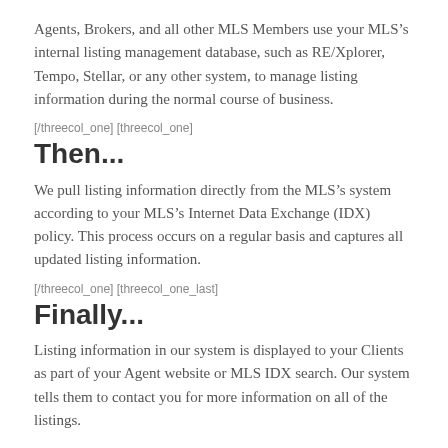Agents, Brokers, and all other MLS Members use your MLS’s internal listing management database, such as RE/Xplorer, Tempo, Stellar, or any other system, to manage listing information during the normal course of business.
[/threecol_one] [threecol_one]
Then...
We pull listing information directly from the MLS’s system according to your MLS’s Internet Data Exchange (IDX) policy. This process occurs on a regular basis and captures all updated listing information.
[/threecol_one] [threecol_one_last]
Finally...
Listing information in our system is displayed to your Clients as part of your Agent website or MLS IDX search. Our system tells them to contact you for more information on all of the listings.